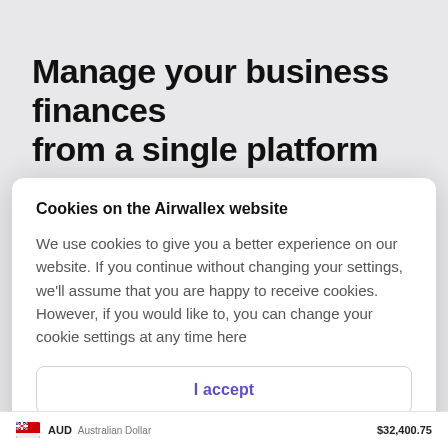Manage your business finances from a single platform
Cookies on the Airwallex website
We use cookies to give you a better experience on our website. If you continue without changing your settings, we'll assume that you are happy to receive cookies. However, if you would like to, you can change your cookie settings at any time here
I accept
Find out more
AUD  Australian Dollar  $32,400.75